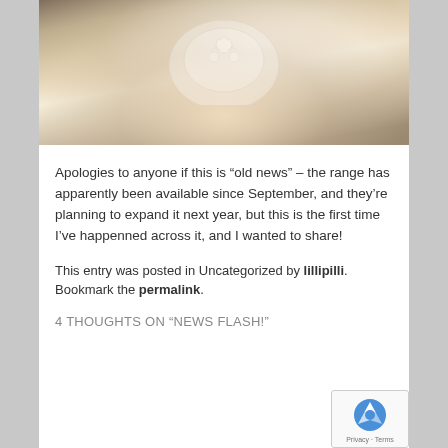[Figure (photo): Close-up photograph of a person wearing a white lace bra/corset garment with floral lace detailing, warm toned background]
Apologies to anyone if this is “old news” – the range has apparently been available since September, and they’re planning to expand it next year, but this is the first time I’ve happenned across it, and I wanted to share!
This entry was posted in Uncategorized by lillipilli. Bookmark the permalink.
4 THOUGHTS ON “NEWS FLASH!”
[Figure (illustration): Comment section with avatar placeholder (gray square with circle) and reCAPTCHA badge]